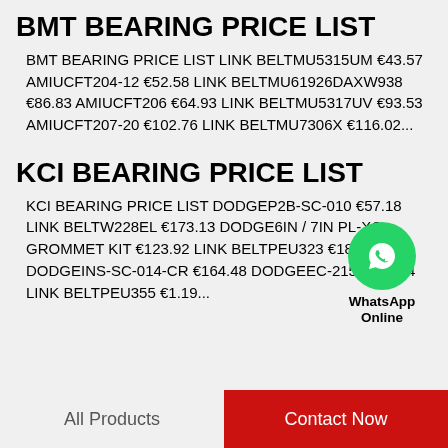BMT BEARING PRICE LIST
BMT BEARING PRICE LIST LINK BELTMU5315UM €43.57 AMIUCFT204-12 €52.58 LINK BELTMU61926DAXW938 €86.83 AMIUCFT206 €64.93 LINK BELTMU5317UV €93.53 AMIUCFT207-20 €102.76 LINK BELTMU7306X €116.02...
[Figure (logo): WhatsApp Online green circle logo with phone icon and WhatsApp Online text below]
KCI BEARING PRICE LIST
KCI BEARING PRICE LIST DODGEP2B-SC-010 €57.18 LINK BELTW228EL €173.13 DODGE6IN / 7IN PL-XC GROMMET KIT €123.92 LINK BELTPEU323 €181.85 DODGEINS-SC-014-CR €164.48 DODGEEC-215 €165.14 LINK BELTPEU355 €1.19...
All Products    Contact Now